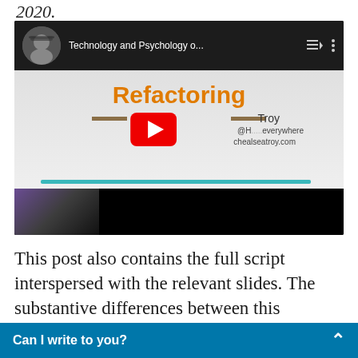2020.
[Figure (screenshot): YouTube video thumbnail showing a presentation slide with the word 'Refactoring' in orange, presenter name 'Troy', handle '@H...everywhere', website 'chealseatroy.com', channel icon with person wearing glasses, and a webcam preview in the bottom left corner. A YouTube play button is visible in the center.]
This post also contains the full script interspersed with the relevant slides. The substantive differences between this transcript
Can I write to you?